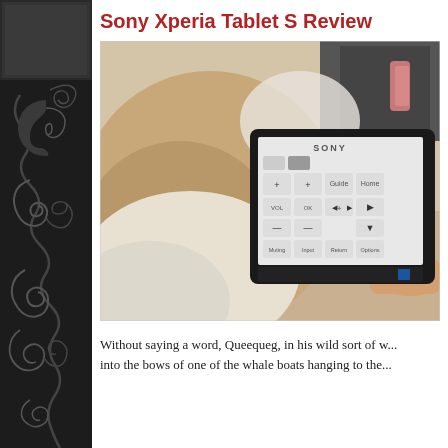Sony Xperia Tablet S Review
[Figure (photo): Person holding and touching the screen of a Sony Xperia Tablet S, which displays a remote control interface with buttons like Guide, Home, VOL, OK, Muting, Input, Return, Options.]
Without saying a word, Queequeg, in his wild sort of w... into the bows of one of the whale boats hanging to the...